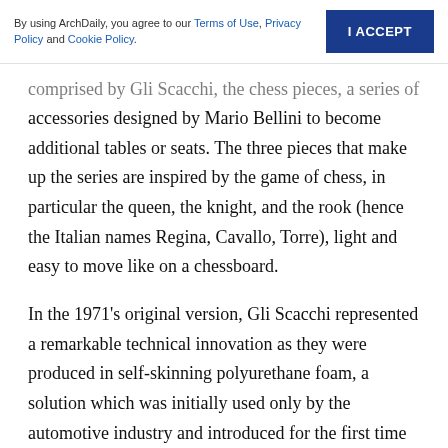By using ArchDaily, you agree to our Terms of Use, Privacy Policy and Cookie Policy. | I ACCEPT
comprised by Gli Scacchi, the chess pieces, a series of accessories designed by Mario Bellini to become additional tables or seats. The three pieces that make up the series are inspired by the game of chess, in particular the queen, the knight, and the rook (hence the Italian names Regina, Cavallo, Torre), light and easy to move like on a chessboard.
In the 1971’s original version, Gli Scacchi represented a remarkable technical innovation as they were produced in self-skinning polyurethane foam, a solution which was initially used only by the automotive industry and introduced for the first time in furniture. The 2020 reissue offers soft covers made of thick leather and calf hide with visible stitching. The system designed in 1970, makes its comeback 50 years later, speaking a contemporary language, between structural